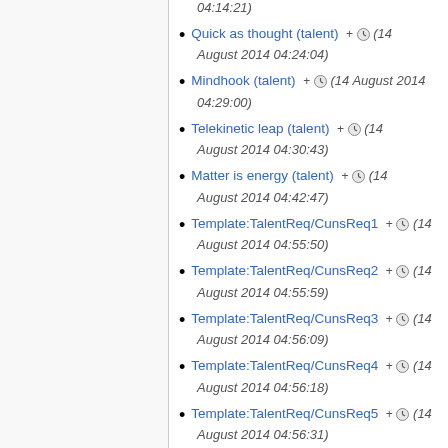Quick as thought (talent) + (14 August 2014 04:24:04)
Mindhook (talent) + (14 August 2014 04:29:00)
Telekinetic leap (talent) + (14 August 2014 04:30:43)
Matter is energy (talent) + (14 August 2014 04:42:47)
Template:TalentReq/CunsReq1 + (14 August 2014 04:55:50)
Template:TalentReq/CunsReq2 + (14 August 2014 04:55:59)
Template:TalentReq/CunsReq3 + (14 August 2014 04:56:09)
Template:TalentReq/CunsReq4 + (14 August 2014 04:56:18)
Template:TalentReq/CunsReq5 + (14 August 2014 04:56:31)